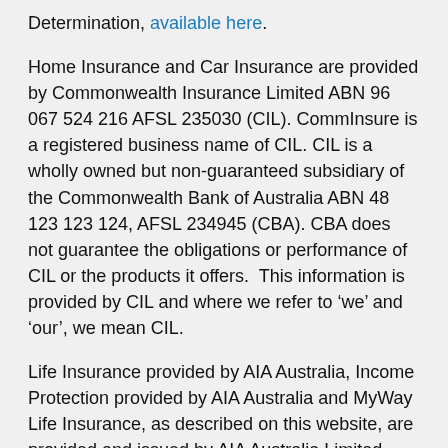Determination, available here.
Home Insurance and Car Insurance are provided by Commonwealth Insurance Limited ABN 96 067 524 216 AFSL 235030 (CIL). CommInsure is a registered business name of CIL. CIL is a wholly owned but non-guaranteed subsidiary of the Commonwealth Bank of Australia ABN 48 123 123 124, AFSL 234945 (CBA). CBA does not guarantee the obligations or performance of CIL or the products it offers.  This information is provided by CIL and where we refer to 'we' and 'our', we mean CIL.
Life Insurance provided by AIA Australia, Income Protection provided by AIA Australia and MyWay Life Insurance, as described on this website, are provided and issued by AIA Australia Limited ABN 79 004 837 861, AFSL 230043 (AIA Australia) and distributed by the Commonwealth Bank of Australia ABN 48 123 123 124, AFSL 234945 (CBA). AIA Australia...